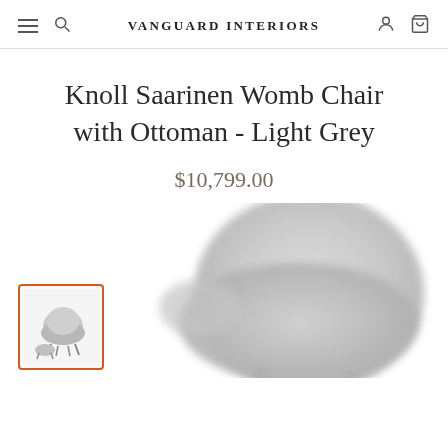VANGUARD INTERIORS
Knoll Saarinen Womb Chair with Ottoman - Light Grey
$10,799.00
[Figure (photo): Product photo of Knoll Saarinen Womb Chair with Ottoman in Light Grey, shown as a thumbnail with orange border on the left and a larger blurred close-up view on the right]